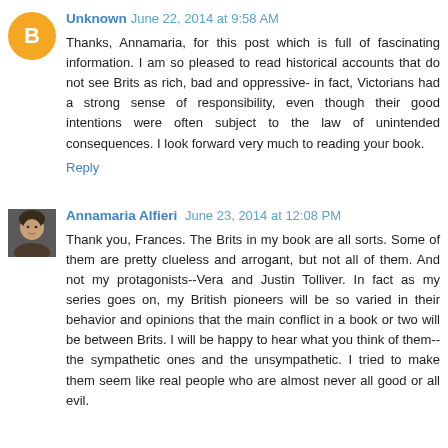Unknown  June 22, 2014 at 9:58 AM
Thanks, Annamaria, for this post which is full of fascinating information. I am so pleased to read historical accounts that do not see Brits as rich, bad and oppressive- in fact, Victorians had a strong sense of responsibility, even though their good intentions were often subject to the law of unintended consequences. I look forward very much to reading your book.
Reply
Annamaria Alfieri  June 23, 2014 at 12:08 PM
Thank you, Frances. The Brits in my book are all sorts. Some of them are pretty clueless and arrogant, but not all of them. And not my protagonists--Vera and Justin Tolliver. In fact as my series goes on, my British pioneers will be so varied in their behavior and opinions that the main conflict in a book or two will be between Brits. I will be happy to hear what you think of them--the sympathetic ones and the unsympathetic. I tried to make them seem like real people who are almost never all good or all evil.